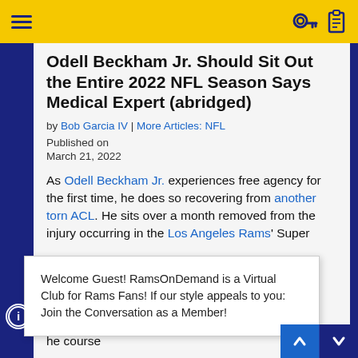Odell Beckham Jr. Should Sit Out the Entire 2022 NFL Season Says Medical Expert (abridged)
Odell Beckham Jr. Should Sit Out the Entire 2022 NFL Season Says Medical Expert (abridged)
by Bob Garcia IV | More Articles: NFL
Published on
March 21, 2022
As Odell Beckham Jr. experiences free agency for the first time, he does so recovering from another torn ACL. He sits over a month removed from the injury occurring in the Los Angeles Rams' Super [Bowl...] wideout embarks on that arduous path, Dr.
Welcome Guest! RamsOnDemand is a Virtual Club for Rams Fans! If our style appeals to you: Join the Conversation as a Member!